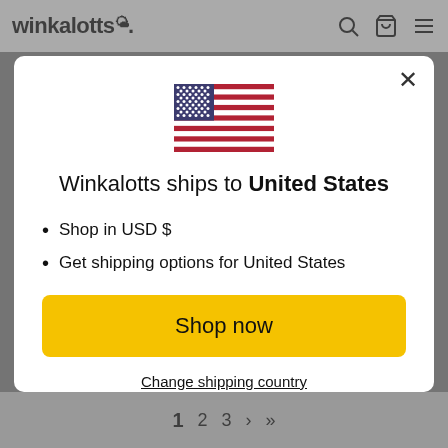winkalotts.
[Figure (illustration): US flag SVG illustration displayed in modal dialog]
Winkalotts ships to United States
Shop in USD $
Get shipping options for United States
Shop now
Change shipping country
1 2 3 > >>